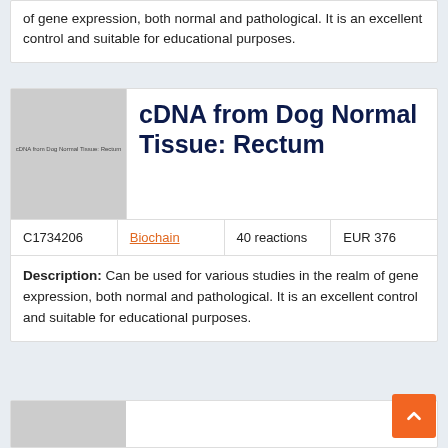of gene expression, both normal and pathological. It is an excellent control and suitable for educational purposes.
[Figure (photo): Product image placeholder for cDNA from Dog Normal Tissue: Rectum with text label]
cDNA from Dog Normal Tissue: Rectum
| C1734206 | Biochain | 40 reactions | EUR 376 |
| --- | --- | --- | --- |
Description: Can be used for various studies in the realm of gene expression, both normal and pathological. It is an excellent control and suitable for educational purposes.